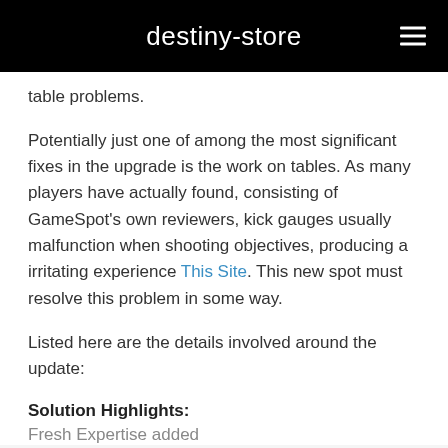destiny-store
table problems.
Potentially just one of among the most significant fixes in the upgrade is the work on tables. As many players have actually found, consisting of GameSpot's own reviewers, kick gauges usually malfunction when shooting objectives, producing a irritating experience This Site. This new spot must resolve this problem in some way.
Listed here are the details involved around the update:
Solution Highlights:
Fresh Expertise added